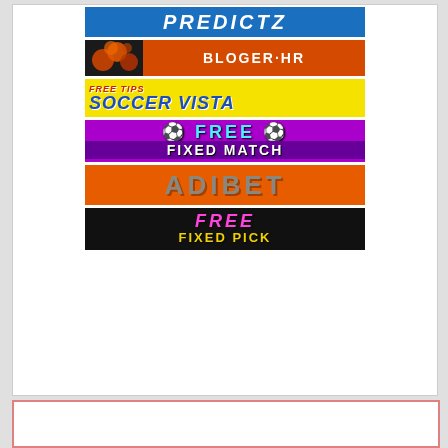[Figure (logo): PREDICTZ blue banner logo]
[Figure (logo): BLOGER.HR dark banner with orange circles and orange text area]
[Figure (logo): FREE TIPS SOCCER VISTA yellow banner]
[Figure (logo): FREE FIXED MATCH purple banner]
[Figure (logo): ADIBET orange banner]
[Figure (logo): FREE FIXED PICK black banner with pink and yellow text]